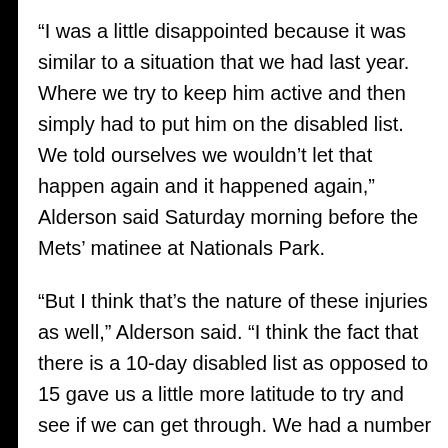“I was a little disappointed because it was similar to a situation that we had last year. Where we try to keep him active and then simply had to put him on the disabled list. We told ourselves we wouldn’t let that happen again and it happened again,” Alderson said Saturday morning before the Mets’ matinee at Nationals Park.
“But I think that’s the nature of these injuries as well,” Alderson said. “I think the fact that there is a 10-day disabled list as opposed to 15 gave us a little more latitude to try and see if we can get through. We had a number of off days and